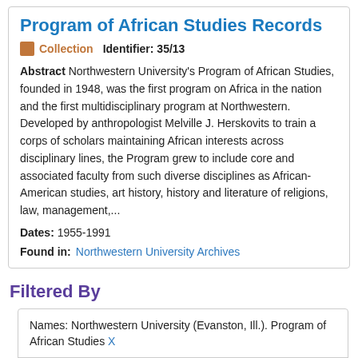Program of African Studies Records
Collection   Identifier: 35/13
Abstract Northwestern University's Program of African Studies, founded in 1948, was the first program on Africa in the nation and the first multidisciplinary program at Northwestern. Developed by anthropologist Melville J. Herskovits to train a corps of scholars maintaining African interests across disciplinary lines, the Program grew to include core and associated faculty from such diverse disciplines as African-American studies, art history, history and literature of religions, law, management,...
Dates: 1955-1991
Found in: Northwestern University Archives
Filtered By
Names: Northwestern University (Evanston, Ill.). Program of African Studies X
Names: Herskovits, Melville J. (Melville Jean), 1895-1963 X